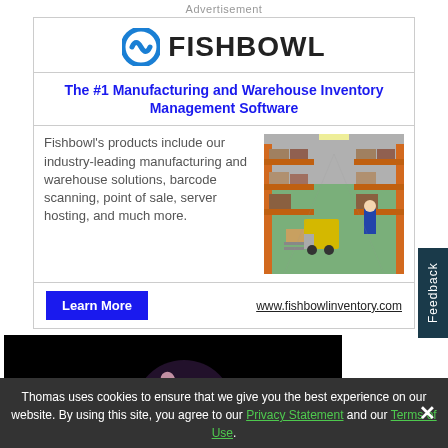Advertisement
[Figure (logo): Fishbowl logo with blue circular icon and bold FISHBOWL text]
The #1 Manufacturing and Warehouse Inventory Management Software
Fishbowl's products include our industry-leading manufacturing and warehouse solutions, barcode scanning, point of sale, server hosting, and much more.
[Figure (photo): Warehouse interior with forklift and worker]
Learn More
www.fishbowlinventory.com
[Figure (photo): Dark background with a hand gesture visible]
Thomas uses cookies to ensure that we give you the best experience on our website. By using this site, you agree to our Privacy Statement and our Terms of Use.